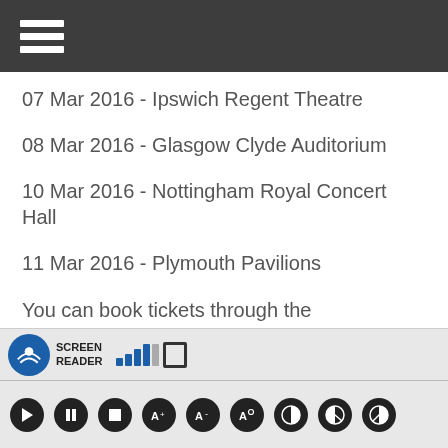07 Mar 2016 - Ipswich Regent Theatre
08 Mar 2016 - Glasgow Clyde Auditorium
10 Mar 2016 - Nottingham Royal Concert Hall
11 Mar 2016 - Plymouth Pavilions
You can book tickets through the Ticketmaster website.
Purchase Contact the venues directly for accessibility information.